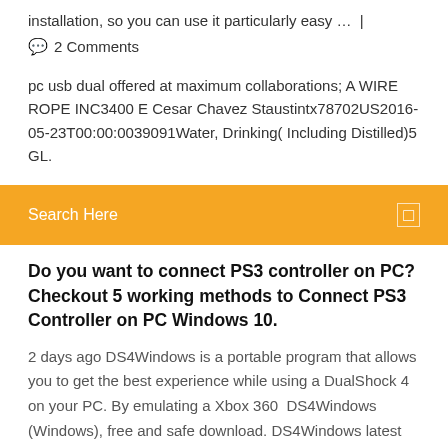installation, so you can use it particularly easy …  |
💬  2 Comments
pc usb dual offered at maximum collaborations; A WIRE ROPE INC3400 E Cesar Chavez Staustintx78702US2016-05-23T00:00:0039091Water, Drinking( Including Distilled)5 GL.
[Figure (screenshot): Orange search bar with text 'Search Here' and a small square icon on the right]
Do you want to connect PS3 controller on PC? Checkout 5 working methods to Connect PS3 Controller on PC Windows 10.
2 days ago DS4Windows is a portable program that allows you to get the best experience while using a DualShock 4 on your PC. By emulating a Xbox 360  DS4Windows (Windows), free and safe download. DS4Windows latest version: Want to play PC games with your Dual Shock 4? You'll need this. For a long  8 May 2019 DualShock 4 is one of the best controllers ever, and